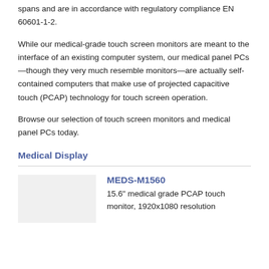spans and are in accordance with regulatory compliance EN 60601-1-2.
While our medical-grade touch screen monitors are meant to the interface of an existing computer system, our medical panel PCs—though they very much resemble monitors—are actually self-contained computers that make use of projected capacitive touch (PCAP) technology for touch screen operation.
Browse our selection of touch screen monitors and medical panel PCs today.
Medical Display
MEDS-M1560
15.6" medical grade PCAP touch monitor, 1920x1080 resolution